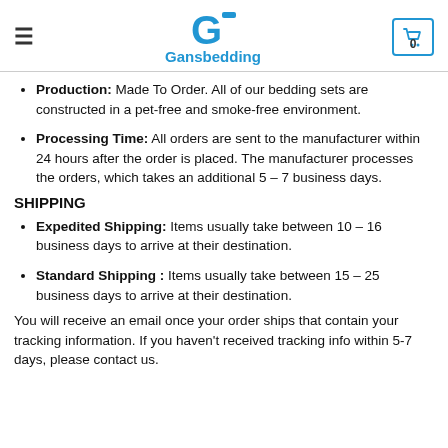Gansbedding
Production: Made To Order. All of our bedding sets are constructed in a pet-free and smoke-free environment.
Processing Time: All orders are sent to the manufacturer within 24 hours after the order is placed. The manufacturer processes the orders, which takes an additional 5 – 7 business days.
SHIPPING
Expedited Shipping: Items usually take between 10 – 16 business days to arrive at their destination.
Standard Shipping : Items usually take between 15 – 25 business days to arrive at their destination.
You will receive an email once your order ships that contain your tracking information. If you haven't received tracking info within 5-7 days, please contact us.